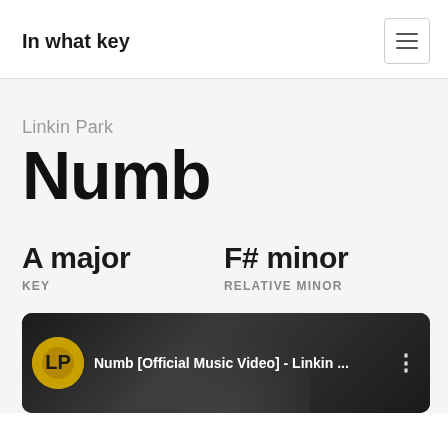In what key
Linkin Park
Numb
A major
KEY
F# minor
RELATIVE MINOR
[Figure (screenshot): YouTube video thumbnail for 'Numb [Official Music Video] - Linkin ...' with Linkin Park logo icon on dark background]